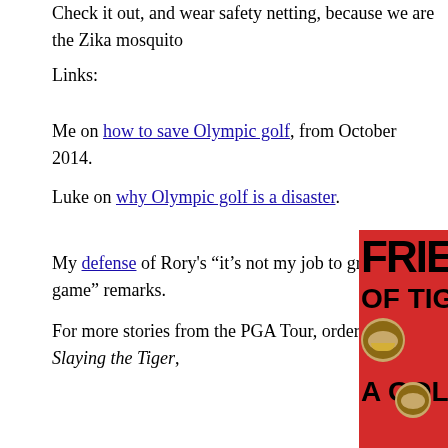Check it out, and wear safety netting, because we are the Zika mosquito
Links:
Me on how to save Olympic golf, from October 2014.
Luke on why Olympic golf is a disaster.
My defense of Rory’s “it’s not my job to grow the game” remarks.
For more stories from the PGA Tour, order my book, Slaying the Tiger,
[Figure (photo): Book cover showing 'FRIENDS OF TIGER A GOLF' text on red background with photos of golfers]